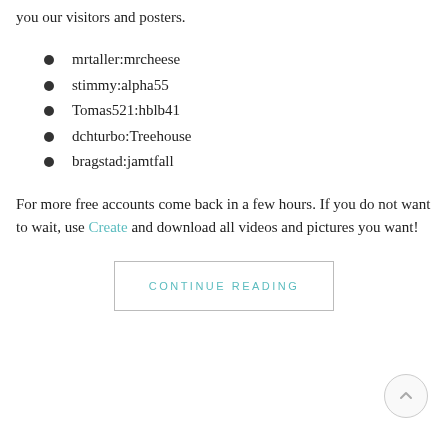you our visitors and posters.
mrtaller:mrcheese
stimmy:alpha55
Tomas521:hblb41
dchturbo:Treehouse
bragstad:jamtfall
For more free accounts come back in a few hours. If you do not want to wait, use Create and download all videos and pictures you want!
CONTINUE READING